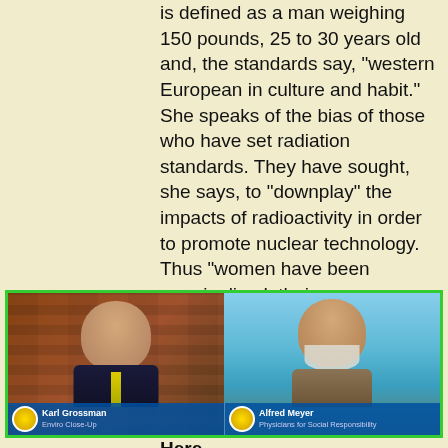is defined as a man weighing 150 pounds, 25 to 30 years old and, the standards say, "western European in culture and habit." She speaks of the bias of those who have set radiation standards. They have sought, she says, to "downplay" the impacts of radioactivity in order to promote nuclear technology. Thus "women have been marginalized, their concerns marginalized." Beyond Nuclear has been working to have exposure standards changed to reflect the real effects of radiation. -  View Full Program Here
[Figure (photo): Split-screen video thumbnail showing two men. Left: Karl Grossman, Enviro Close-Up. Right: Alfred Meyer, Physicians for Social Responsibility. Both men appear in a video call format with name captions at the bottom.]